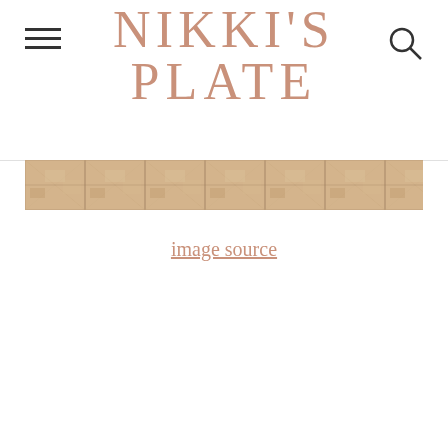NIKKI'S PLATE
[Figure (photo): Marble tile texture strip image]
image source